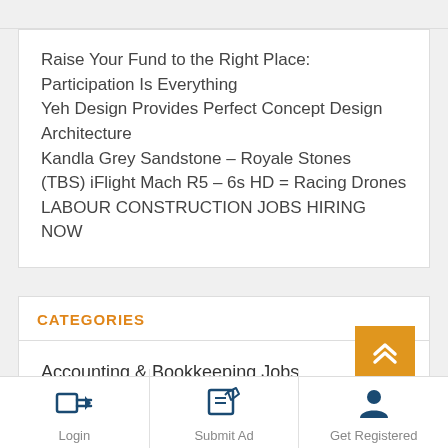Raise Your Fund to the Right Place: Participation Is Everything
Yeh Design Provides Perfect Concept Design Architecture
Kandla Grey Sandstone – Royale Stones
(TBS) iFlight Mach R5 – 6s HD = Racing Drones
LABOUR CONSTRUCTION JOBS HIRING NOW
CATEGORIES
Accounting & Bookkeeping Jobs
Advertising & Marketing
Login   Submit Ad   Get Registered